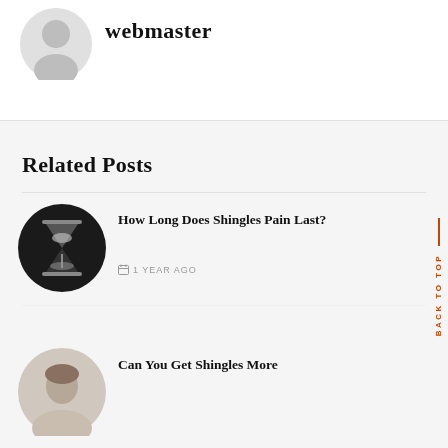webmaster
[Figure (photo): Grey placeholder avatar silhouette icon]
Related Posts
[Figure (photo): Black and white circular photo of an hourglass]
How Long Does Shingles Pain Last?
1 YEAR AGO
[Figure (photo): Circular photo of a person (partial, bottom of page)]
Can You Get Shingles More